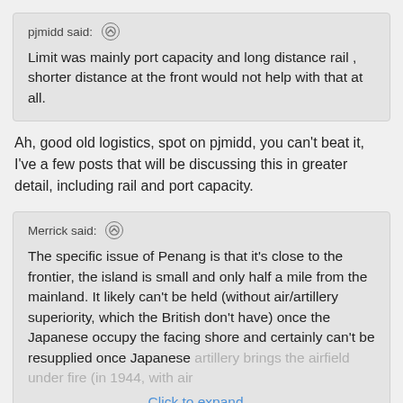pjmidd said: ↑
Limit was mainly port capacity and long distance rail , shorter distance at the front would not help with that at all.
Ah, good old logistics, spot on pjmidd, you can't beat it, I've a few posts that will be discussing this in greater detail, including rail and port capacity.
Merrick said: ↑
The specific issue of Penang is that it's close to the frontier, the island is small and only half a mile from the mainland. It likely can't be held (without air/artillery superiority, which the British don't have) once the Japanese occupy the facing shore and certainly can't be resupplied once Japanese artillery brings the airfield under fire (in 1944, with air
Click to expand...